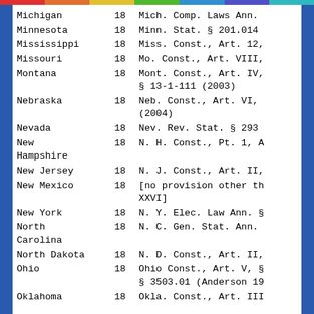| State | Age | Citation |
| --- | --- | --- |
| Michigan | 18 | Mich. Comp. Laws Ann. |
| Minnesota | 18 | Minn. Stat. § 201.014 |
| Mississippi | 18 | Miss. Const., Art. 12, |
| Missouri | 18 | Mo. Const., Art. VIII, |
| Montana | 18 | Mont. Const., Art. IV,
§ 13-1-111 (2003) |
| Nebraska | 18 | Neb. Const., Art. VI,
(2004) |
| Nevada | 18 | Nev. Rev. Stat. § 293 |
| New Hampshire | 18 | N. H. Const., Pt. 1, A |
| New Jersey | 18 | N. J. Const., Art. II, |
| New Mexico | 18 | [no provision other th
XXVI] |
| New York | 18 | N. Y. Elec. Law Ann. § |
| North Carolina | 18 | N. C. Gen. Stat. Ann. |
| North Dakota | 18 | N. D. Const., Art. II, |
| Ohio | 18 | Ohio Const., Art. V, §
§ 3503.01 (Anderson 19 |
| Oklahoma | 18 | Okla. Const., Art. III |